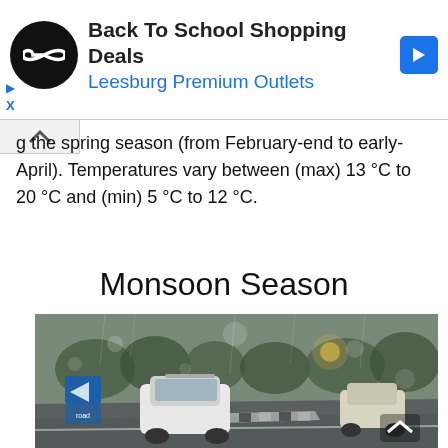[Figure (screenshot): Advertisement banner for Back To School Shopping Deals at Leesburg Premium Outlets with infinity-symbol logo and blue arrow icon]
g the spring season (from February-end to early-April). Temperatures vary between (max) 13 °C to 20 °C and (min) 5 °C to 12 °C.
Monsoon Season
[Figure (photo): Rainy day scene on a wet road with cars driving in the rain, trees in background, traffic signs visible on left, taken through a rain-spattered window or windshield]